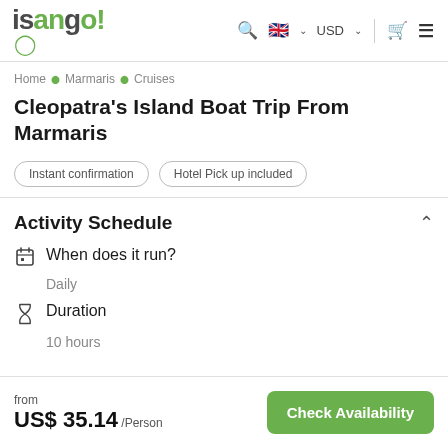isango! [search] [UK flag] USD [cart] [menu]
Home • Marmaris • Cruises
Cleopatra's Island Boat Trip From Marmaris
Instant confirmation   Hotel Pick up included
Activity Schedule
When does it run?
Daily
Duration
10 hours
from US$ 35.14 /Person   Check Availability